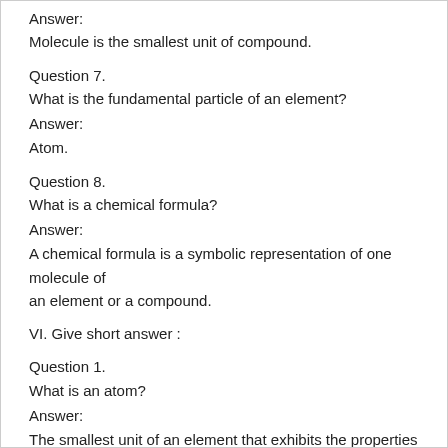Answer:
Molecule is the smallest unit of compound.
Question 7.
What is the fundamental particle of an element?
Answer:
Atom.
Question 8.
What is a chemical formula?
Answer:
A chemical formula is a symbolic representation of one molecule of an element or a compound.
VI. Give short answer :
Question 1.
What is an atom?
Answer:
The smallest unit of an element that exhibits the properties of the element is called as ‘atom’.
Question 2.